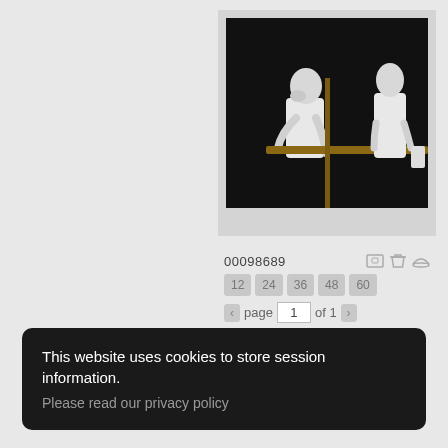[Figure (photo): Black and white photograph of two people at a ballet barre in a dark studio. One person leans on the barre thoughtfully, the other stands facing away.]
00098689
12  24  36  48  60
page 1 of 1
This website uses cookies to store session information.
Please read our privacy policy